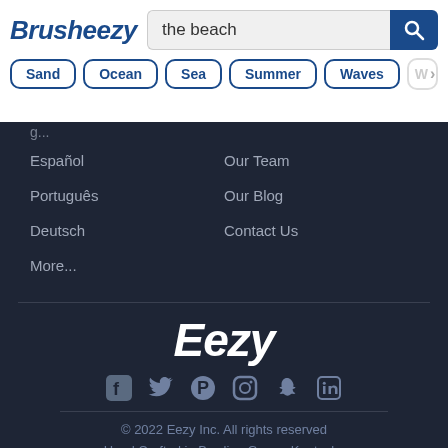Brusheezy
the beach
Sand
Ocean
Sea
Summer
Waves
Español
Português
Deutsch
More...
Our Team
Our Blog
Contact Us
[Figure (logo): Eezy logo in white italic bold text]
[Figure (infographic): Social media icons: Facebook, Twitter, Pinterest, Instagram, Snapchat, LinkedIn]
© 2022 Eezy Inc. All rights reserved
Hand Crafted in Bowling Green, Kentucky